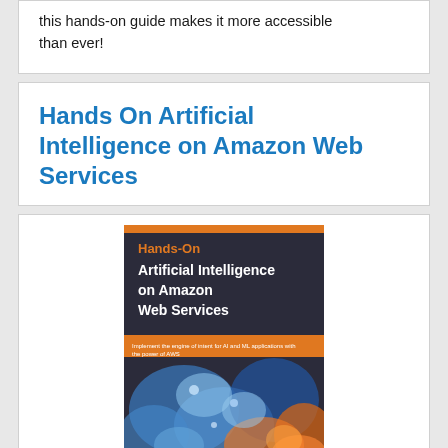this hands-on guide makes it more accessible than ever!
Hands On Artificial Intelligence on Amazon Web Services
[Figure (photo): Book cover of 'Hands-On Artificial Intelligence on Amazon Web Services' showing the title in orange and white text on a dark background with blue and orange abstract neural network imagery at the bottom.]